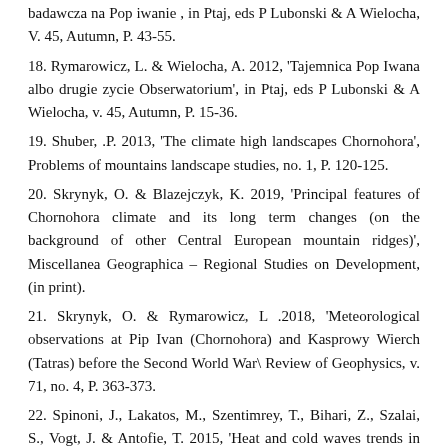badawcza na Pop iwanie , in Ptaj, eds P Lubonski & A Wielocha, V. 45, Autumn, P. 43-55.
18. Rymarowicz, L. & Wielocha, A. 2012, 'Tajemnica Pop Iwana albo drugie zycie Obserwatorium', in Ptaj, eds P Lubonski & A Wielocha, v. 45, Autumn, P. 15-36.
19. Shuber, .P. 2013, 'The climate high landscapes Chornohora', Problems of mountains landscape studies, no. 1, P. 120-125.
20. Skrynyk, O. & Blazejczyk, K. 2019, 'Principal features of Chornohora climate and its long term changes (on the background of other Central European mountain ridges)', Miscellanea Geographica – Regional Studies on Development, (in print).
21. Skrynyk, O. & Rymarowicz, L .2018, 'Meteorological observations at Pip Ivan (Chornohora) and Kasprowy Wierch (Tatras) before the Second World War\ Review of Geophysics, v. 71, no. 4, P. 363-373.
22. Spinoni, J., Lakatos, M., Szentimrey, T., Bihari, Z., Szalai, S., Vogt, J. & Antofie, T. 2015, 'Heat and cold waves trends in the Carpathian Region from 1961 to 2010', International Journal of Climatology, vol. 35, no. 14, P. 4197-4209.